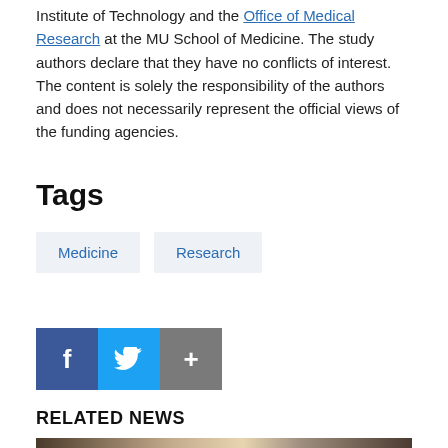Institute of Technology and the Office of Medical Research at the MU School of Medicine. The study authors declare that they have no conflicts of interest. The content is solely the responsibility of the authors and does not necessarily represent the official views of the funding agencies.
Tags
Medicine
Research
[Figure (infographic): Social sharing buttons: Facebook (blue), Twitter (light blue), and a plus/share button (gray)]
RELATED NEWS
[Figure (photo): Photo showing two people, one seen from behind and one facing forward, apparently in a medical or professional setting]